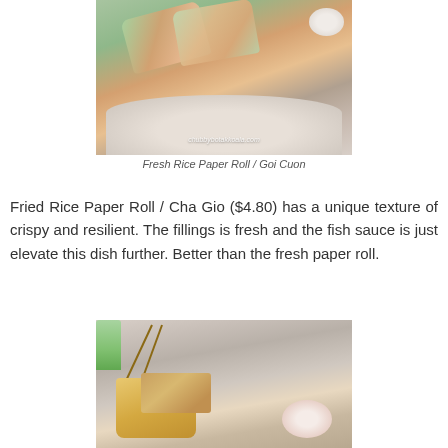[Figure (photo): Photo of fresh rice paper rolls (Goi Cuon) on a plate, with a dipping sauce bowl, on a wooden table. Watermark reads: chubbybotakkoala.com]
Fresh Rice Paper Roll / Goi Cuon
Fried Rice Paper Roll / Cha Gio ($4.80) has a unique texture of crispy and resilient. The fillings is fresh and the fish sauce is just elevate this dish further. Better than the fresh paper roll.
[Figure (photo): Photo of fried rice paper rolls (Cha Gio) served in a basket with chopsticks, alongside a bowl of dipping sauce, on a wooden table, with a green bottle in background.]